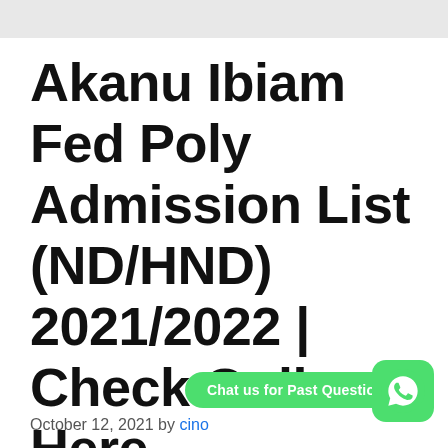Akanu Ibiam Fed Poly Admission List (ND/HND) 2021/2022 | Check Online Here.
October 12, 2021 by cino